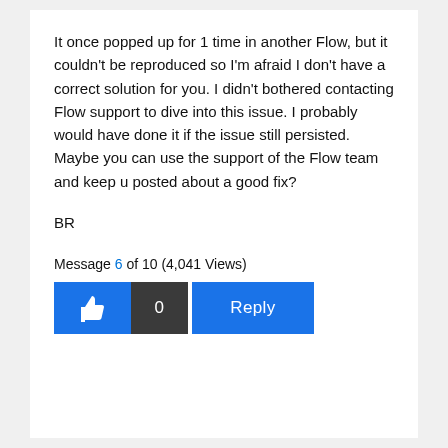It once popped up for 1 time in another Flow, but it couldn't be reproduced so I'm afraid I don't have a correct solution for you. I didn't bothered contacting Flow support to dive into this issue. I probably would have done it if the issue still persisted. Maybe you can use the support of the Flow team and keep u posted about a good fix?
BR
Message 6 of 10 (4,041 Views)